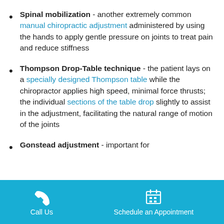Spinal mobilization - another extremely common manual chiropractic adjustment administered by using the hands to apply gentle pressure on joints to treat pain and reduce stiffness
Thompson Drop-Table technique - the patient lays on a specially designed Thompson table while the chiropractor applies high speed, minimal force thrusts; the individual sections of the table drop slightly to assist in the adjustment, facilitating the natural range of motion of the joints
Gonstead adjustment - important for
Call Us   Schedule an Appointment